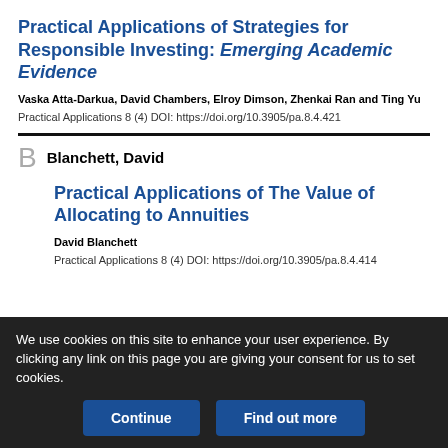Practical Applications of Strategies for Responsible Investing: Emerging Academic Evidence
Vaska Atta-Darkua, David Chambers, Elroy Dimson, Zhenkai Ran and Ting Yu
Practical Applications 8 (4) DOI: https://doi.org/10.3905/pa.8.4.421
B   Blanchett, David
Practical Applications of The Value of Allocating to Annuities
David Blanchett
Practical Applications 8 (4) DOI: https://doi.org/10.3905/pa.8.4.414
We use cookies on this site to enhance your user experience. By clicking any link on this page you are giving your consent for us to set cookies.